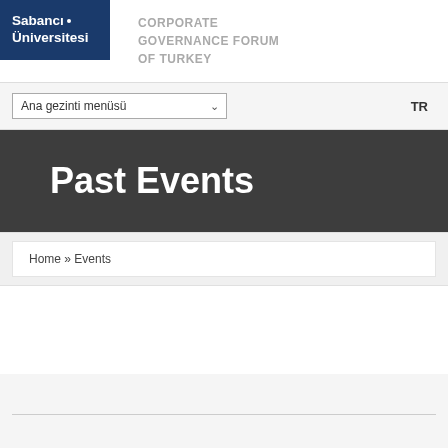[Figure (logo): Sabancı Üniversitesi logo — dark blue rectangle with white bold text 'Sabancı Üniversitesi']
CORPORATE GOVERNANCE FORUM OF TURKEY
Ana gezinti menüsü
TR
Past Events
Home » Events